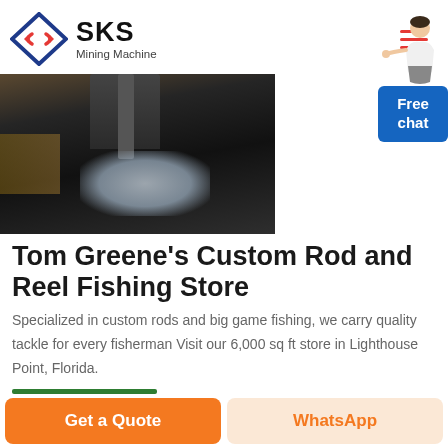SKS Mining Machine
[Figure (photo): Dark industrial machinery close-up photo, showing metal parts and a light reflection area]
Tom Greene's Custom Rod and Reel Fishing Store
Specialized in custom rods and big game fishing, we carry quality tackle for every fisherman Visit our 6,000 sq ft store in Lighthouse Point, Florida.
Get a Quote
WhatsApp